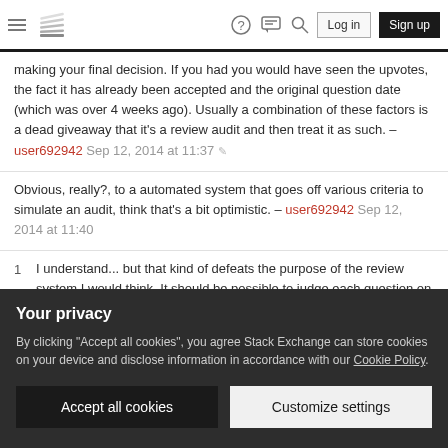Stack Exchange navigation bar with hamburger menu, logo, help, chat, search icons, Log in and Sign up buttons
making your final decision. If you had you would have seen the upvotes, the fact it has already been accepted and the original question date (which was over 4 weeks ago). Usually a combination of these factors is a dead giveaway that it's a review audit and then treat it as such. – user692942 Sep 12, 2014 at 11:37
Obvious, really?, to a automated system that goes off various criteria to simulate an audit, think that's a bit optimistic. – user692942 Sep 12, 2014 at 11:40
1  I understand... but that kind of defeats the purpose of the review system I would think. It should be possible to judge each question on its merits without being
Your privacy
By clicking "Accept all cookies", you agree Stack Exchange can store cookies on your device and disclose information in accordance with our Cookie Policy.
Accept all cookies
Customize settings
Put it this way the audit is more helpful then it isn't. If it